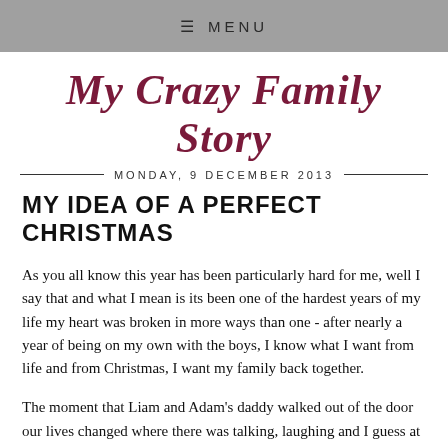≡ MENU
My Crazy Family Story
MONDAY, 9 DECEMBER 2013
MY IDEA OF A PERFECT CHRISTMAS
As you all know this year has been particularly hard for me, well I say that and what I mean is its been one of the hardest years of my life my heart was broken in more ways than one - after nearly a year of being on my own with the boys, I know what I want from life and from Christmas, I want my family back together.
The moment that Liam and Adam's daddy walked out of the door our lives changed where there was talking, laughing and I guess at times a lot of shouting there was nothing a huge gap has filled all our lives, empty spaces where clothes were hanging, shoes were